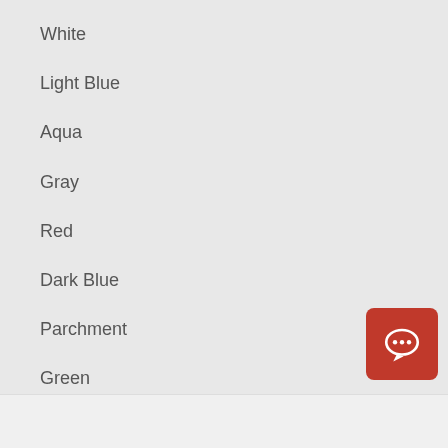White
Light Blue
Aqua
Gray
Red
Dark Blue
Parchment
Green